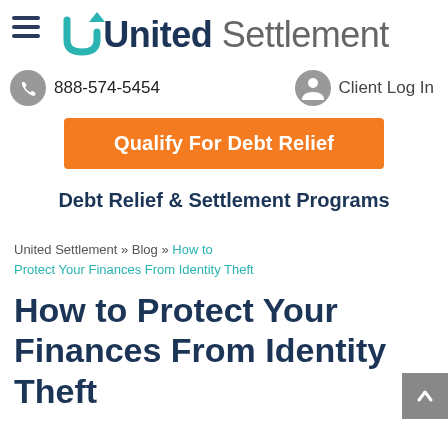United Settlement
888-574-5454   Client Log In
Qualify For Debt Relief
Debt Relief & Settlement Programs
United Settlement » Blog » How to Protect Your Finances From Identity Theft
How to Protect Your Finances From Identity Theft